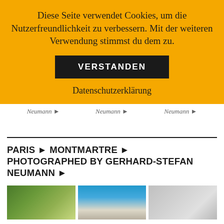Diese Seite verwendet Cookies, um die Nutzerfreundlichkeit zu verbessern. Mit der weiteren Verwendung stimmst du dem zu.
VERSTANDEN
Datenschutzerklärung
Neumann ► Neumann ► Neumann ►
PARIS ► MONTMARTRE ► PHOTOGRAPHED BY GERHARD-STEFAN NEUMANN ►
[Figure (photo): Three thumbnail photos in a row showing Paris Montmartre scenes]